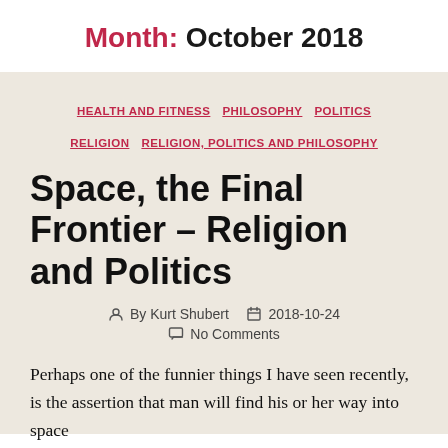Month: October 2018
HEALTH AND FITNESS  PHILOSOPHY  POLITICS  RELIGION  RELIGION, POLITICS AND PHILOSOPHY
Space, the Final Frontier – Religion and Politics
By Kurt Shubert  2018-10-24  No Comments
Perhaps one of the funnier things I have seen recently, is the assertion that man will find his or her way into space